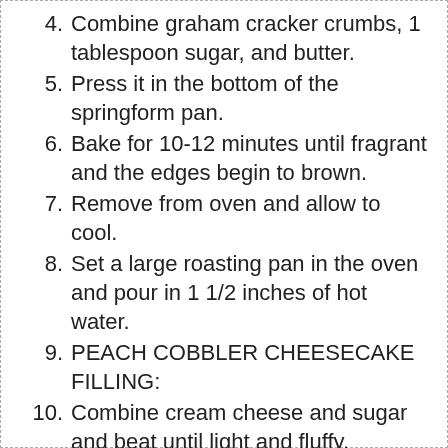4. Combine graham cracker crumbs, 1 tablespoon sugar, and butter.
5. Press it in the bottom of the springform pan.
6. Bake for 10-12 minutes until fragrant and the edges begin to brown.
7. Remove from oven and allow to cool.
8. Set a large roasting pan in the oven and pour in 1 1/2 inches of hot water.
9. PEACH COBBLER CHEESECAKE FILLING:
10. Combine cream cheese and sugar and beat until light and fluffy.
11. Add eggs and beat to combine.
12. Add sour cream and the 3 flavorings and beat to combine.
13. Add desired color. (1 drop orange for light peach skin tone)
14. Scoop out 1 1/2 tablespoons of filing and place in a small bowl.
15. Color using several drops of black coloring.